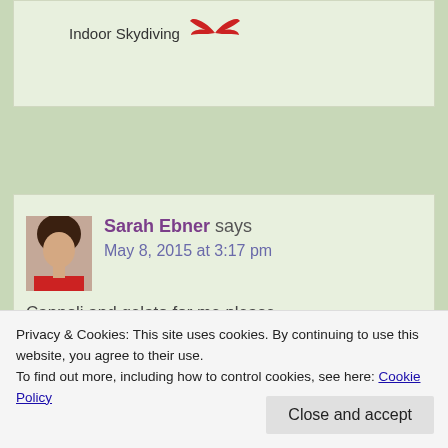Indoor Skydiving
Reply
Sarah Ebner says
May 8, 2015 at 3:17 pm
Cannoli and gelato for me please, although they all sound very
Privacy & Cookies: This site uses cookies. By continuing to use this website, you agree to their use.
To find out more, including how to control cookies, see here: Cookie Policy
Close and accept